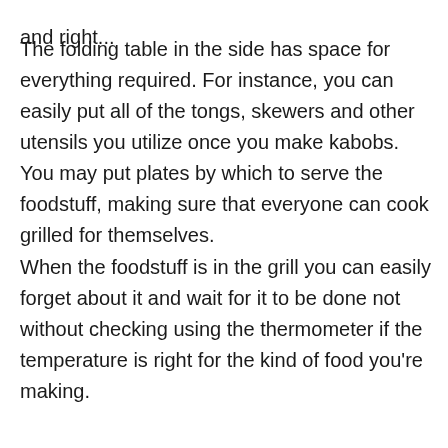and right...
The folding table in the side has space for everything required. For instance, you can easily put all of the tongs, skewers and other utensils you utilize once you make kabobs. You may put plates by which to serve the foodstuff, making sure that everyone can cook grilled for themselves.
When the foodstuff is in the grill you can easily forget about it and wait for it to be done not without checking using the thermometer if the temperature is right for the kind of food you're making.